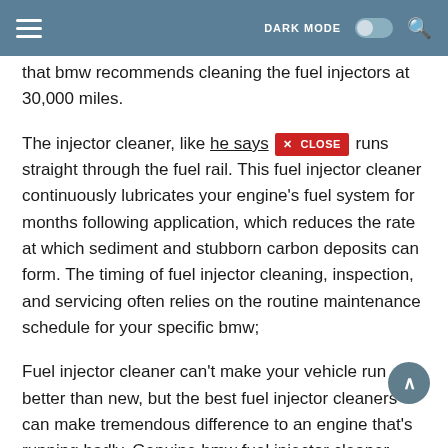DARK MODE
that bmw recommends cleaning the fuel injectors at 30,000 miles.
The injector cleaner, like he says, runs straight through the fuel rail. This fuel injector cleaner continuously lubricates your engine's fuel system for months following application, which reduces the rate at which sediment and stubborn carbon deposits can form. The timing of fuel injector cleaning, inspection, and servicing often relies on the routine maintenance schedule for your specific bmw;
Fuel injector cleaner can't make your vehicle run better than new, but the best fuel injector cleaners can make tremendous difference to an engine that's running badly. Genuine bmw fuel injector cleaner injection concentrate